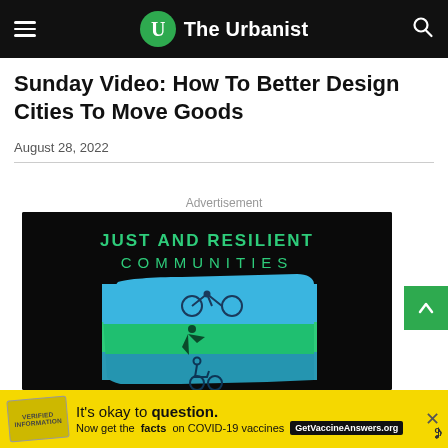The Urbanist
Sunday Video: How To Better Design Cities To Move Goods
August 28, 2022
Advertisement
[Figure (illustration): Dark background advertisement showing 'JUST AND RESILIENT COMMUNITIES' text with a blue and green stylized map of Washington State containing icons of a bicycle, running person, and wheelchair user]
[Figure (infographic): Yellow bottom banner advertisement: 'It's okay to question. Now get the facts on COVID-19 vaccines. GetVaccineAnswers.org']